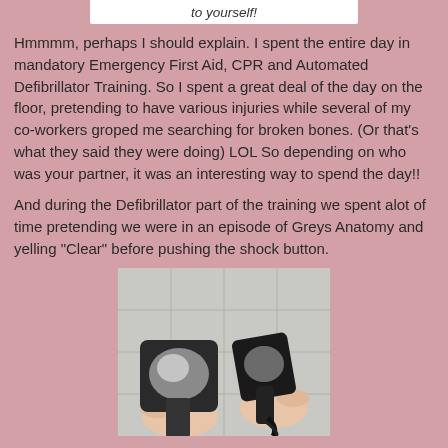[Figure (screenshot): Top strip showing partial white box with text 'to yourself!' in italic]
Hmmmm, perhaps I should explain.  I spent the entire day in mandatory Emergency First Aid, CPR and Automated Defibrillator Training.  So I spent a great deal of the day on the floor, pretending to have various injuries while several of my co-workers groped me searching for broken bones.  (Or that's what they said they were doing)  LOL  So depending on who was your partner, it was an interesting way to spend the day!!
And during the Defibrillator part of the training we spent alot of time pretending we were in an episode of Greys Anatomy and yelling "Clear" before pushing the shock button.
[Figure (photo): Photo of two defibrillator paddles being held up by hands against a white tiled background]